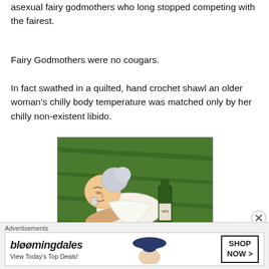asexual fairy godmothers who long stopped competing with the fairest.
Fairy Godmothers were no cougars.
In fact swathed in a quilted, hand crochet shawl an older woman's chilly body temperature was matched only by her chilly non-existent libido.
[Figure (illustration): Cartoon illustration of an elderly woman lying on green grass, wearing white clothing, holding a glass and lying next to a wine bottle.]
Advertisements
[Figure (other): Bloomingdale's advertisement banner with text 'bloomingdales View Today's Top Deals!' and 'SHOP NOW >' button, featuring a woman with a hat.]